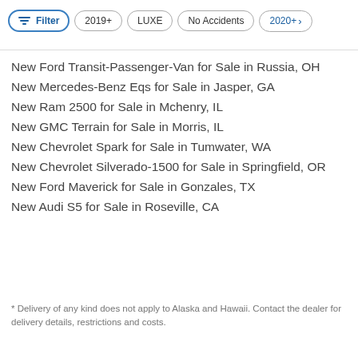Filter | 2019+ | LUXE | No Accidents | 2020+
New Ford Transit-Passenger-Van for Sale in Russia, OH
New Mercedes-Benz Eqs for Sale in Jasper, GA
New Ram 2500 for Sale in Mchenry, IL
New GMC Terrain for Sale in Morris, IL
New Chevrolet Spark for Sale in Tumwater, WA
New Chevrolet Silverado-1500 for Sale in Springfield, OR
New Ford Maverick for Sale in Gonzales, TX
New Audi S5 for Sale in Roseville, CA
* Delivery of any kind does not apply to Alaska and Hawaii. Contact the dealer for delivery details, restrictions and costs.